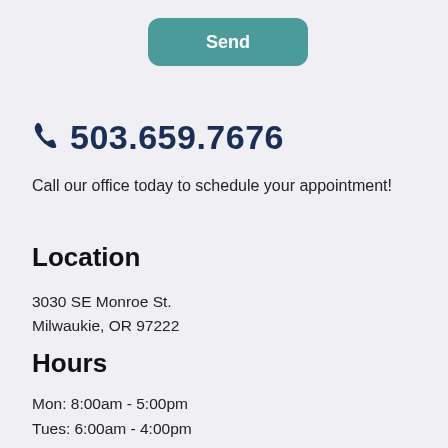Send
503.659.7676
Call our office today to schedule your appointment!
Location
3030 SE Monroe St.
Milwaukie, OR 97222
Hours
Mon: 8:00am - 5:00pm
Tues: 6:00am - 4:00pm
Wed: 7:00am - 4:00pm
Thur: 8:00am - 5:00pm
Fri: By Appoint...